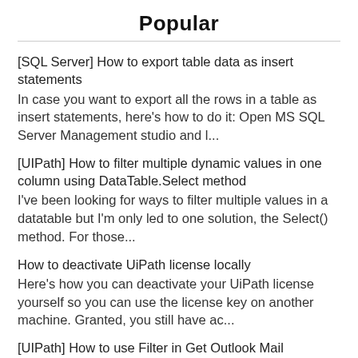Popular
[SQL Server] How to export table data as insert statements
In case you want to export all the rows in a table as insert statements, here's how to do it: Open MS SQL Server Management studio and l...
[UIPath] How to filter multiple dynamic values in one column using DataTable.Select method
I've been looking for ways to filter multiple values in a datatable but I'm only led to one solution, the Select() method. For those...
How to deactivate UiPath license locally
Here's how you can deactivate your UiPath license yourself so you can use the license key on another machine. Granted, you still have ac...
[UIPath] How to use Filter in Get Outlook Mail Messages